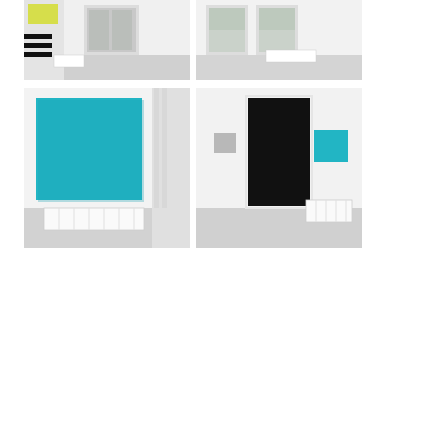[Figure (photo): Gallery interior photo showing a wall with a yellow/lime rectangular artwork, white walls, doors, and grey floor. Top-left of 2x2 grid.]
[Figure (photo): Gallery interior photo showing white walls, two windows/doors with natural light, a white radiator, and grey floor. Top-right of 2x2 grid.]
[Figure (photo): Gallery interior close-up photo showing a large teal/cyan square canvas on a white wall, with vertical pipes and a radiator below. Bottom-left of 2x2 grid.]
[Figure (photo): Gallery interior photo showing a dark doorway/opening in white wall, a small grey square artwork on left wall, a teal/cyan square artwork on right wall, and a white radiator. Bottom-right of 2x2 grid.]